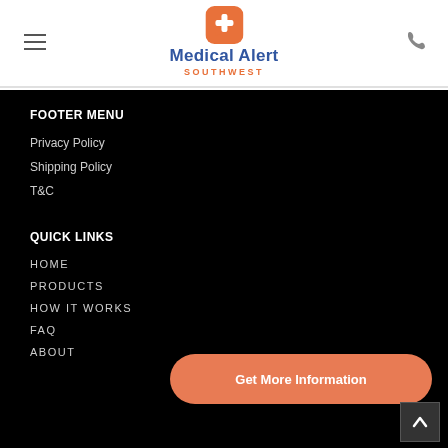[Figure (logo): Medical Alert Southwest logo: orange rounded-square icon with white plus/cross symbol, blue bold text 'Medical Alert' and orange 'SOUTHWEST' below]
Medical Alert Southwest — header navigation with hamburger menu and phone icon
FOOTER MENU
Privacy Policy
Shipping Policy
T&C
QUICK LINKS
HOME
PRODUCTS
HOW IT WORKS
FAQ
ABOUT
Get More Information